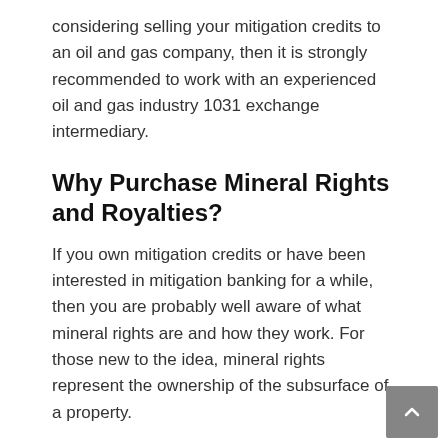considering selling your mitigation credits to an oil and gas company, then it is strongly recommended to work with an experienced oil and gas industry 1031 exchange intermediary.
Why Purchase Mineral Rights and Royalties?
If you own mitigation credits or have been interested in mitigation banking for a while, then you are probably well aware of what mineral rights are and how they work. For those new to the idea, mineral rights represent the ownership of the subsurface of a property.
Although mineral rights are not available in many countries throughout the world, Americans have the